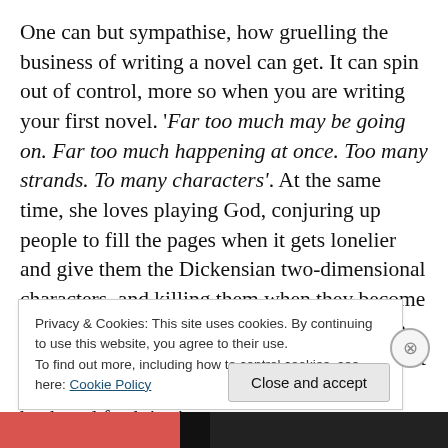One can but sympathise, how gruelling the business of writing a novel can get. It can spin out of control, more so when you are writing your first novel. 'Far too much may be going on. Far too much happening at once. Too many strands. To many characters'. At the same time, she loves playing God, conjuring up people to fill the pages when it gets lonelier and give them the Dickensian two-dimensional characters, and killing them when they become a crowd. She may also bring them back from death, once in a while, to fill the vacuum. Trust Yvonne to deliver expeditiously, switching back and forth in time
Privacy & Cookies: This site uses cookies. By continuing to use this website, you agree to their use. To find out more, including how to control cookies, see here: Cookie Policy
Close and accept